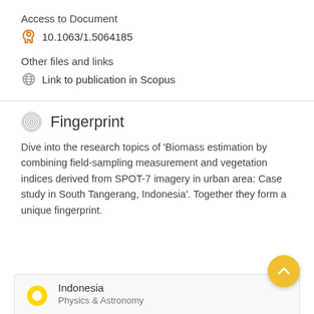Access to Document
10.1063/1.5064185
Other files and links
Link to publication in Scopus
Fingerprint
Dive into the research topics of 'Biomass estimation by combining field-sampling measurement and vegetation indices derived from SPOT-7 imagery in urban area: Case study in South Tangerang, Indonesia'. Together they form a unique fingerprint.
Indonesia
Physics & Astronomy